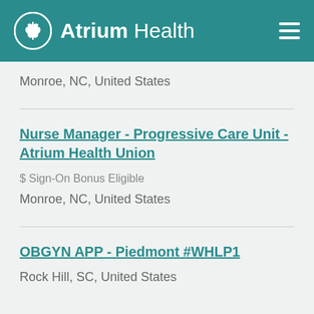[Figure (logo): Atrium Health logo with leaf/wheat icon in white on teal background, with hamburger menu icon]
Monroe, NC, United States
Nurse Manager - Progressive Care Unit - Atrium Health Union
$ Sign-On Bonus Eligible
Monroe, NC, United States
OBGYN APP - Piedmont #WHLP1
Rock Hill, SC, United States